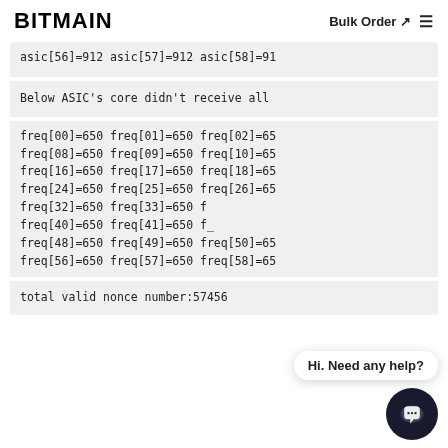BITMAIN  Bulk Order
asic[56]=912 asic[57]=912 asic[58]=91
Below ASIC's core didn't receive all
freq[00]=650 freq[01]=650 freq[02]=65
freq[08]=650 freq[09]=650 freq[10]=65
freq[16]=650 freq[17]=650 freq[18]=65
freq[24]=650 freq[25]=650 freq[26]=65
freq[32]=650 freq[33]=650 f
freq[40]=650 freq[41]=650 f
freq[48]=650 freq[49]=650 freq[50]=65
freq[56]=650 freq[57]=650 freq[58]=65
total valid nonce number:57456